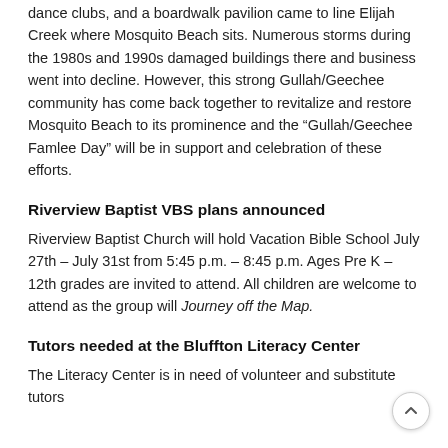dance clubs, and a boardwalk pavilion came to line Elijah Creek where Mosquito Beach sits. Numerous storms during the 1980s and 1990s damaged buildings there and business went into decline. However, this strong Gullah/Geechee community has come back together to revitalize and restore Mosquito Beach to its prominence and the “Gullah/Geechee Famlee Day” will be in support and celebration of these efforts.
Riverview Baptist VBS plans announced
Riverview Baptist Church will hold Vacation Bible School July 27th – July 31st from 5:45 p.m. – 8:45 p.m. Ages Pre K – 12th grades are invited to attend. All children are welcome to attend as the group will Journey off the Map.
Tutors needed at the Bluffton Literacy Center
The Literacy Center is in need of volunteer and substitute tutors